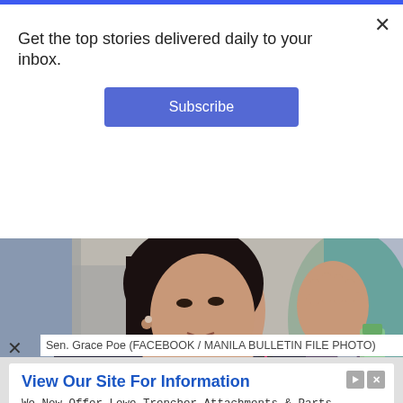Get the top stories delivered daily to your inbox.
Subscribe
[Figure (photo): Senator Grace Poe speaking at a hearing, gesturing with her right hand raised, with a microphone in front of her and water bottles visible on the table]
Sen. Grace Poe (FACEBOOK / MANILA BULLETIN FILE PHOTO)
View Our Site For Information
We Now Offer Lowe Trencher Attachments & Parts. Call Us Today
Replacement Digging Parts
Open